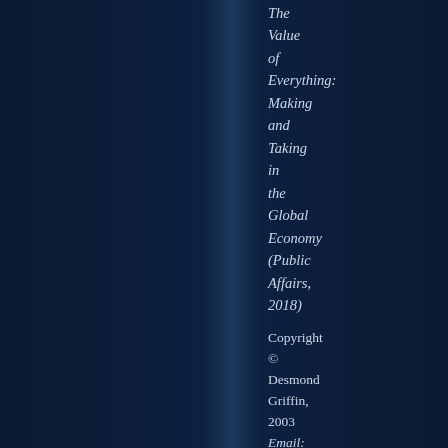The Value of Everything: Making and Taking in the Global Economy (Public Affairs, 2018)
Copyright © Desmond Griffin, 2003 Email: desgriffin3893@outlook.com